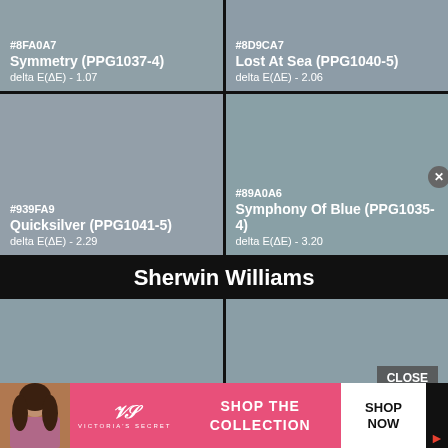[Figure (other): Color swatch card: #8FA0A7, Symmetry (PPG1037-4), delta E(ΔE) - 1.07]
[Figure (other): Color swatch card: #8D9CA7, Lost At Sea (PPG1040-5), delta E(ΔE) - 2.06]
[Figure (other): Color swatch card: #939FA9, Quicksilver (PPG1041-5), delta E(ΔE) - 2.29]
[Figure (other): Color swatch card: #89A0A6, Symphony Of Blue (PPG1035-4), delta E(ΔE) - 3.20]
Sherwin Williams
[Figure (other): Sherwin Williams color swatch card (bottom left, no text visible)]
[Figure (other): Sherwin Williams color swatch card (bottom right, CLOSE button visible)]
[Figure (other): Victoria's Secret advertisement banner: SHOP THE COLLECTION / SHOP NOW]